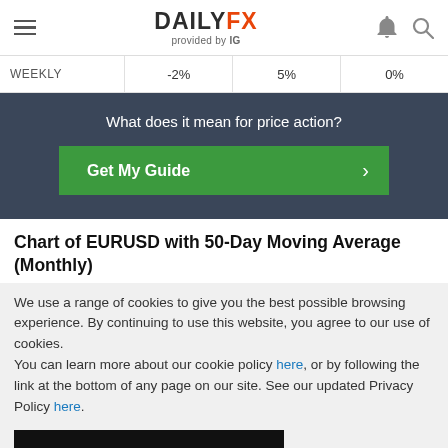DAILYFX provided by IG
|  |  |  |  |
| --- | --- | --- | --- |
| WEEKLY | -2% | 5% | 0% |
What does it mean for price action?
Get My Guide
Chart of EURUSD with 50-Day Moving Average (Monthly)
We use a range of cookies to give you the best possible browsing experience. By continuing to use this website, you agree to our use of cookies.
You can learn more about our cookie policy here, or by following the link at the bottom of any page on our site. See our updated Privacy Policy here.
Accept